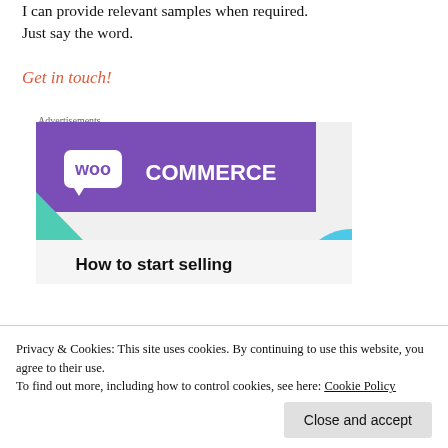I can provide relevant samples when required. Just say the word.
Get in touch!
Advertisements
[Figure (screenshot): WooCommerce advertisement banner showing the WooCommerce logo on a purple background with teal and cyan geometric shapes, and the text 'How to start selling' in bold black text at the bottom on a white/light grey background.]
Privacy & Cookies: This site uses cookies. By continuing to use this website, you agree to their use.
To find out more, including how to control cookies, see here: Cookie Policy
Close and accept